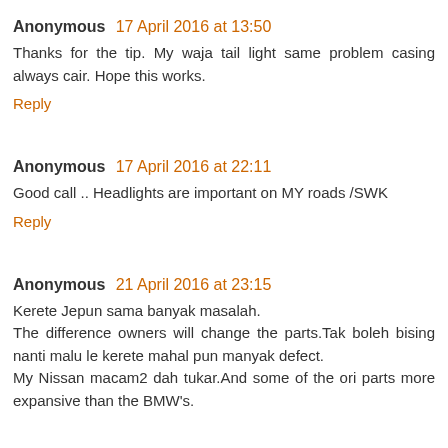Anonymous 17 April 2016 at 13:50
Thanks for the tip. My waja tail light same problem casing always cair. Hope this works.
Reply
Anonymous 17 April 2016 at 22:11
Good call .. Headlights are important on MY roads /SWK
Reply
Anonymous 21 April 2016 at 23:15
Kerete Jepun sama banyak masalah.
The difference owners will change the parts.Tak boleh bising nanti malu le kerete mahal pun manyak defect.
My Nissan macam2 dah tukar.And some of the ori parts more expansive than the BMW's.